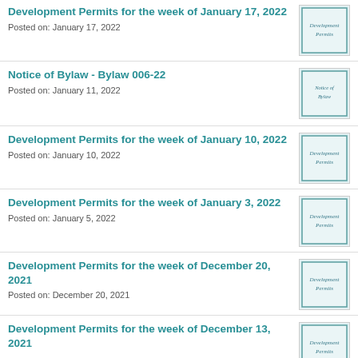Development Permits for the week of January 17, 2022
Posted on: January 17, 2022
[Figure (photo): Thumbnail image showing a card with handwritten text 'Development Permits']
Notice of Bylaw - Bylaw 006-22
Posted on: January 11, 2022
[Figure (photo): Thumbnail image showing a card with handwritten text 'Notice of Bylaw']
Development Permits for the week of January 10, 2022
Posted on: January 10, 2022
[Figure (photo): Thumbnail image showing a card with handwritten text 'Development Permits']
Development Permits for the week of January 3, 2022
Posted on: January 5, 2022
[Figure (photo): Thumbnail image showing a card with handwritten text 'Development Permits']
Development Permits for the week of December 20, 2021
Posted on: December 20, 2021
[Figure (photo): Thumbnail image showing a card with handwritten text 'Development Permits']
Development Permits for the week of December 13, 2021
[Figure (photo): Thumbnail image showing a card with handwritten text 'Development Permits']